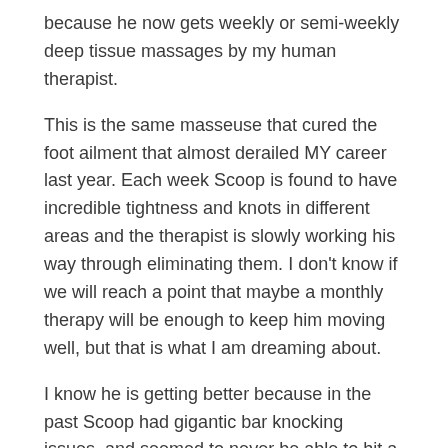because he now gets weekly or semi-weekly deep tissue massages by my human therapist.
This is the same masseuse that cured the foot ailment that almost derailed MY career last year. Each week Scoop is found to have incredible tightness and knots in different areas and the therapist is slowly working his way through eliminating them. I don't know if we will reach a point that maybe a monthly therapy will be enough to keep him moving well, but that is what I am dreaming about.
I know he is getting better because in the past Scoop had gigantic bar knocking issues, and seemed to never be able to hit a weave entry, for this past month he has rarely taken a bar, and maybe only missed a couple weave entries, and I can tell you that I am trying hard to find every tough one there is to train.
I know the weave issues have not been training